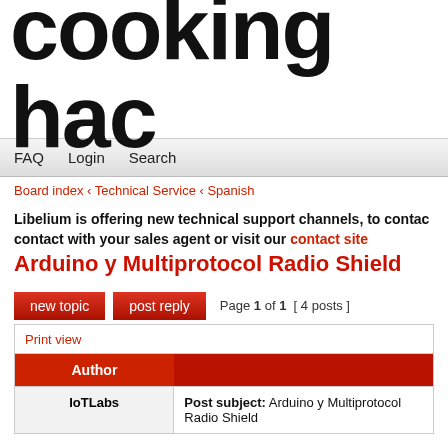[Figure (logo): cooking hac (partial logo text, large bold rounded font)]
FAQ  Login  Search
Board index ‹ Technical Service ‹ Spanish
Libelium is offering new technical support channels, to contact with your sales agent or visit our contact site
Arduino y Multiprotocol Radio Shield
new topic   post reply   Page 1 of 1  [ 4 posts ]
| Author |  |
| --- | --- |
| IoTLabs | Post subject: Arduino y Multiprotocol Radio Shield |